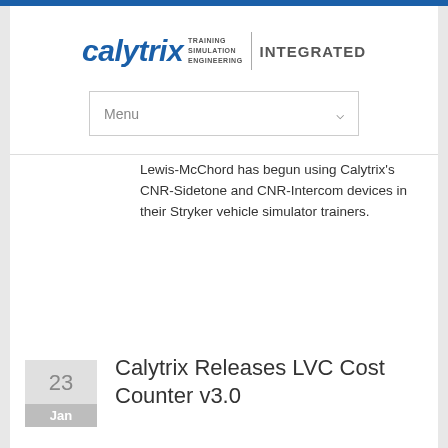[Figure (logo): Calytrix Training Simulation Engineering Integrated logo in blue and grey]
Menu
Lewis-McChord has begun using Calytrix's CNR-Sidetone and CNR-Intercom devices in their Stryker vehicle simulator trainers.
23
Jan
Calytrix Releases LVC Cost Counter v3.0
Calytrix Technologies (Australia) has released the latest update for its LVC Cost Counter tool designed to measure the savings produced through the